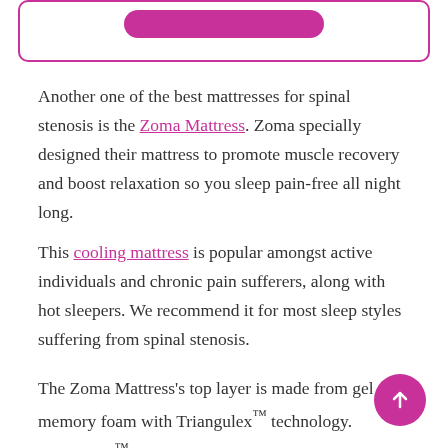[Figure (other): Rounded pink-bordered box with a pink button inside at top of page]
Another one of the best mattresses for spinal stenosis is the Zoma Mattress. Zoma specially designed their mattress to promote muscle recovery and boost relaxation so you sleep pain-free all night long.
This cooling mattress is popular amongst active individuals and chronic pain sufferers, along with hot sleepers. We recommend it for most sleep styles suffering from spinal stenosis.
The Zoma Mattress's top layer is made from gel memory foam with Triangulex™ technology. Triangulex™ is a three-zoned support system in this